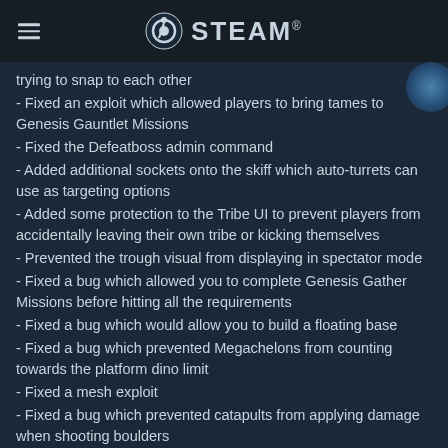STEAM
trying to snap to each other
- Fixed an exploit which allowed players to bring tames to Genesis Gauntlet Missions
- Fixed the Defeatboss admin command
- Added additional sockets onto the skiff which auto-turrets can use as targeting options
- Added some protection to the Tribe UI to prevent players from accidentally leaving their own tribe or kicking themselves
- Prevented the trough visual from displaying in spectator mode
- Fixed a bug which allowed you to complete Genesis Gather Missions before hitting all the requirements
- Fixed a bug which would allow you to build a floating base
- Fixed a bug which prevented Megachelons from counting towards the platform dino limit
- Fixed a mesh exploit
- Fixed a bug which prevented catapults from applying damage when shooting boulders